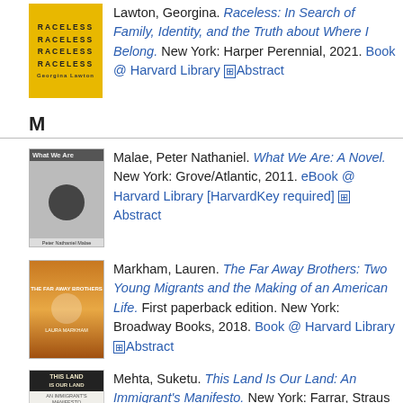Lawton, Georgina. Raceless: In Search of Family, Identity, and the Truth about Where I Belong. New York: Harper Perennial, 2021. Book @ Harvard Library [+] Abstract
M
Malae, Peter Nathaniel. What We Are: A Novel. New York: Grove/Atlantic, 2011. eBook @ Harvard Library [HarvardKey required] [+] Abstract
Markham, Lauren. The Far Away Brothers: Two Young Migrants and the Making of an American Life. First paperback edition. New York: Broadway Books, 2018. Book @ Harvard Library [+] Abstract
Mehta, Suketu. This Land Is Our Land: An Immigrant's Manifesto. New York: Farrar, Straus and Giroux, 2019. Book @ Harvard